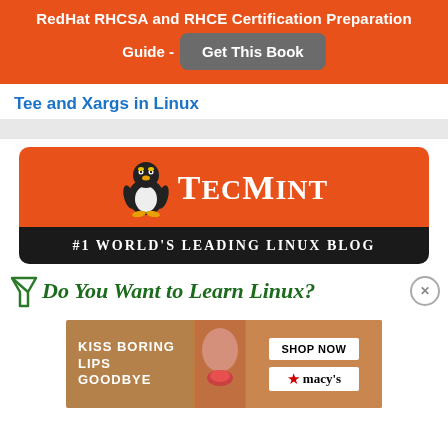[Figure (infographic): Orange banner with text 'RedHat RHCSA and RHCE Certification Preparation Guide -' and a gray 'Get This Book' button]
Tee and Xargs in Linux
[Figure (logo): TecMint logo banner: orange top with Tux penguin and TecMint wordmark, black bottom with '#1 World's Leading Linux Blog']
Do You Want to Learn Linux?
[Figure (photo): Advertisement banner: 'KISS BORING LIPS GOODBYE' with a woman's face and red lips, 'SHOP NOW' button and Macy's logo]